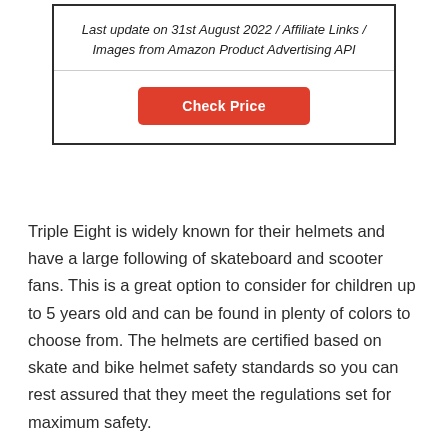Last update on 31st August 2022 / Affiliate Links / Images from Amazon Product Advertising API
Check Price
Triple Eight is widely known for their helmets and have a large following of skateboard and scooter fans. This is a great option to consider for children up to 5 years old and can be found in plenty of colors to choose from. The helmets are certified based on skate and bike helmet safety standards so you can rest assured that they meet the regulations set for maximum safety.